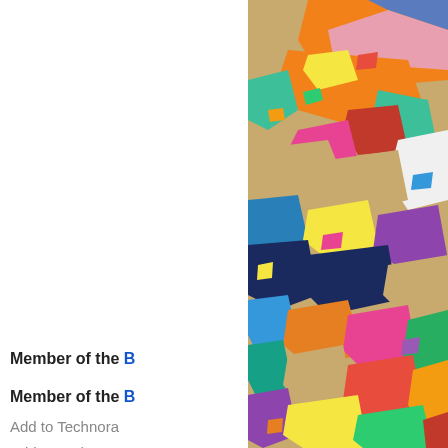[Figure (illustration): A colorful mosaic or collage-style illustration of a face/head shape, featuring many bright multicolored patches (orange, pink, blue, yellow, green, red, white, teal, purple) arranged in an irregular pattern. Only the right portion of the image is visible, cropped at the right edge of the page. The image occupies the upper-right quadrant.]
Member of the B...
Member of the B...
Add to Technora...
Add to Technora...